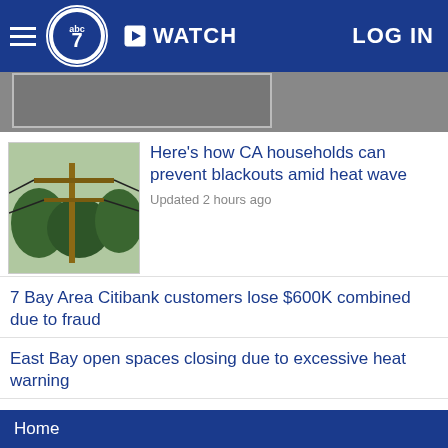abc7 | WATCH | LOG IN
[Figure (photo): Partial thumbnail of a news image visible at top]
[Figure (photo): Power line utility pole photo with trees in background]
Here's how CA households can prevent blackouts amid heat wave
Updated 2 hours ago
7 Bay Area Citibank customers lose $600K combined due to fraud
East Bay open spaces closing due to excessive heat warning
Flex Alert: Parts of CA could see 8 days of triple-digit heat
Biden addresses 'extremist threat to democracy' in speech
Updated an hour ago
SHOW MORE
Home